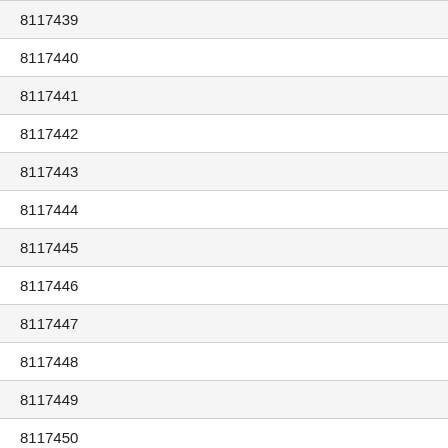8117439
8117440
8117441
8117442
8117443
8117444
8117445
8117446
8117447
8117448
8117449
8117450
8117451